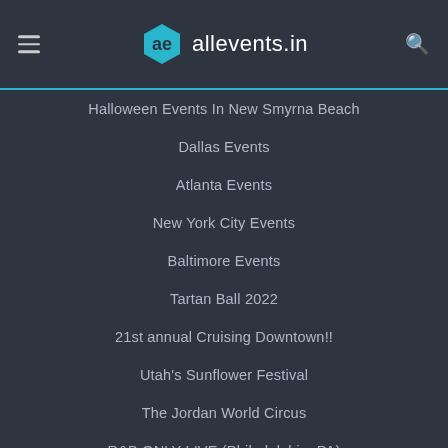ae allevents.in
Halloween Events In New Smyrna Beach
Dallas Events
Atlanta Events
New York City Events
Baltimore Events
Tartan Ball 2022
21st annual Cruising Downtown!!
Utah's Sunflower Festival
The Jordan World Circus
R&B ONLY LIVE (Philadelphia, PA)
Hallowe'en in Greenfield Village